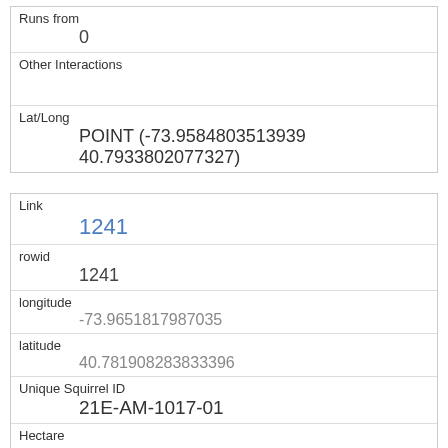| Runs from | 0 |
| Other Interactions |  |
| Lat/Long | POINT (-73.9584803513939 40.7933802077327) |
| Link | 1241 |
| rowid | 1241 |
| longitude | -73.9651817987035 |
| latitude | 40.781908283833396 |
| Unique Squirrel ID | 21E-AM-1017-01 |
| Hectare | 21E |
| Shift | AM |